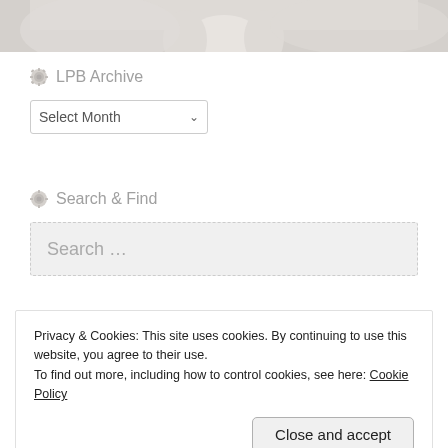[Figure (photo): Bottom portion of a white/light-colored dog photo against a light background]
LPB Archive
Select Month
Search & Find
Search …
Privacy & Cookies: This site uses cookies. By continuing to use this website, you agree to their use.
To find out more, including how to control cookies, see here: Cookie Policy
Close and accept